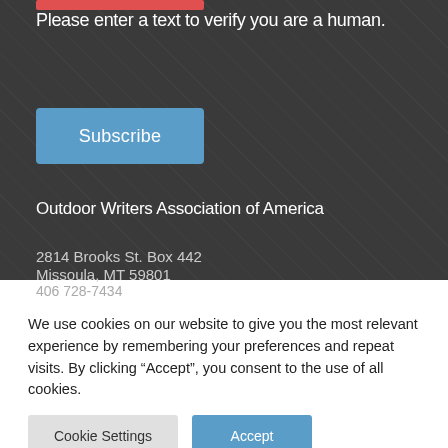Please enter a text to verify you are a human.
Subscribe
Outdoor Writers Association of America
2814 Brooks St. Box 442
Missoula, MT 59801
We use cookies on our website to give you the most relevant experience by remembering your preferences and repeat visits. By clicking “Accept”, you consent to the use of all cookies.
Cookie Settings
Accept